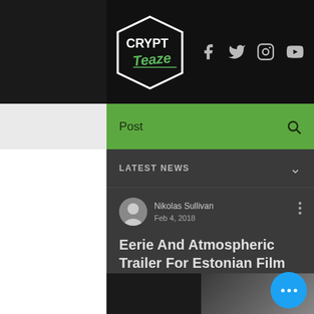[Figure (screenshot): CryptTeaze website header with logo on left and social media icons (Facebook, Twitter, Instagram, YouTube) on black background]
Post
LATEST NEWS
Nikolas Sullivan
Feb 4, 2018
Eerie And Atmospheric Trailer For Estonian Film 'November'